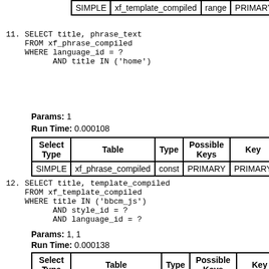| Select Type | Table | Type | Possible Keys | Key |
| --- | --- | --- | --- | --- |
| SIMPLE | xf_template_compiled | range | PRIMARY | PRIMARY |
11. SELECT title, phrase_text
    FROM xf_phrase_compiled
    WHERE language_id = ?
          AND title IN ('home')
Params: 1
Run Time: 0.000108
| Select Type | Table | Type | Possible Keys | Key |
| --- | --- | --- | --- | --- |
| SIMPLE | xf_phrase_compiled | const | PRIMARY | PRIMARY |
12. SELECT title, template_compiled
    FROM xf_template_compiled
    WHERE title IN ('bbcm_js')
          AND style_id = ?
          AND language_id = ?
Params: 1, 1
Run Time: 0.000138
| Select Type | Table | Type | Possible Keys | Key |
| --- | --- | --- | --- | --- |
| SIMPLE | xf_template_compiled | const | PRIMARY | PRIMARY |